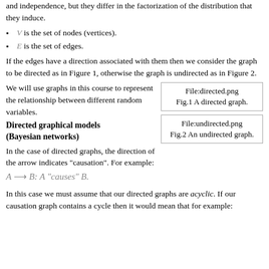and independence, but they differ in the factorization of the distribution that they induce.
V is the set of nodes (vertices).
E is the set of edges.
If the edges have a direction associated with them then we consider the graph to be directed as in Figure 1, otherwise the graph is undirected as in Figure 2.
We will use graphs in this course to represent the relationship between different random variables.
[Figure (other): Box showing File:directed.png placeholder and caption Fig.1 A directed graph.]
Directed graphical models (Bayesian networks)
[Figure (other): Box showing File:undirected.png placeholder and caption Fig.2 An undirected graph.]
In the case of directed graphs, the direction of the arrow indicates "causation". For example:
In this case we must assume that our directed graphs are acyclic. If our causation graph contains a cycle then it would mean that for example: